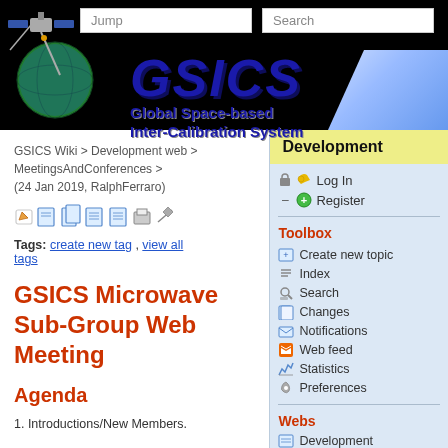[Figure (screenshot): GSICS (Global Space-based Inter-Calibration System) website header banner with logo, satellite illustration, blue light streak, and navigation Jump/Search boxes on black background]
GSICS Wiki > Development web > MeetingsAndConferences > (24 Jan 2019, RalphFerraro)
[Figure (screenshot): Row of toolbar action icons: edit, view, compare, print, attach, and more]
Tags: create new tag , view all tags
GSICS Microwave Sub-Group Web Meeting
Agenda
1. Introductions/New Members.
Development
Log In
Register
Toolbox
Create new topic
Index
Search
Changes
Notifications
Web feed
Statistics
Preferences
Webs
Development